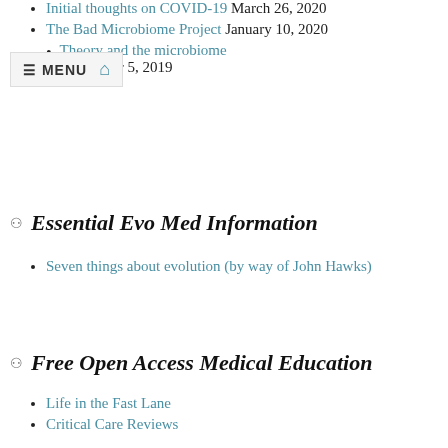Initial thoughts on COVID-19 March 26, 2020
The Bad Microbiome Project January 10, 2020
Theory and the microbiome September 5, 2019
Essential Evo Med Information
Seven things about evolution (by way of John Hawks)
Free Open Access Medical Education
Life in the Fast Lane
Critical Care Reviews